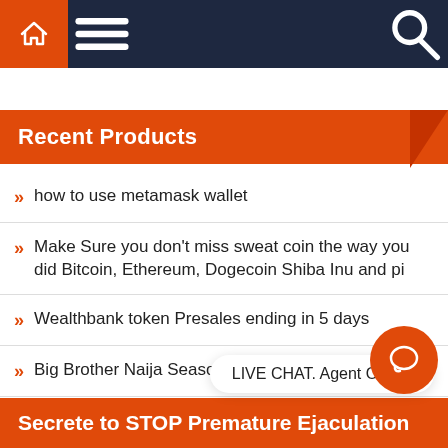Navigation bar with home, menu, and search icons
Recent Products
how to use metamask wallet
Make Sure you don't miss sweat coin the way you did Bitcoin, Ethereum, Dogecoin Shiba Inu and pi
Wealthbank token Presales ending in 5 days
Big Brother Naija Season 7 con
Meet Aidan Gallagher | Umbrella Academy's Numb
LIVE CHAT. Agent Online
Secrete to STOP Premature Ejaculation